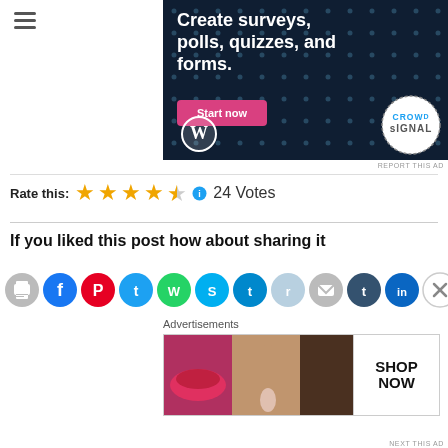[Figure (illustration): Dark navy advertisement banner for CrowdSignal/WordPress with text 'Create surveys, polls, quizzes, and forms.' and a pink 'Start now' button, WordPress logo bottom left, CrowdSignal circular logo bottom right.]
REPORT THIS AD
Rate this: ★★★★½ ℹ 24 Votes
If you liked this post how about sharing it
[Figure (illustration): Row of social sharing icon buttons: print, Facebook, Pinterest, Twitter, WhatsApp, Skype, Telegram, Reddit, Email, Tumblr, LinkedIn, close X button]
Advertisements
[Figure (photo): Ulta Beauty advertisement strip showing beauty/makeup imagery with 'SHOP NOW' text on right side.]
NEXT THIS AD